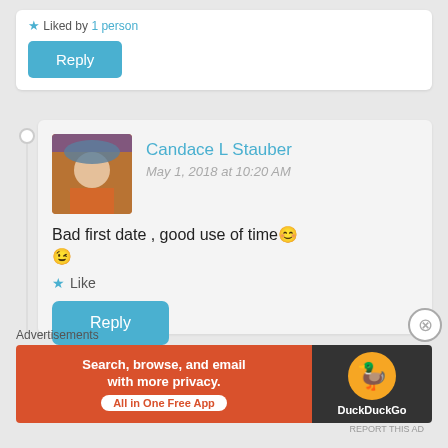★ Liked by 1 person
Reply
Candace L Stauber
May 1, 2018 at 10:20 AM
Bad first date , good use of time 😊 😉
★ Like
Reply
Advertisements
Search, browse, and email with more privacy. All in One Free App
DuckDuckGo